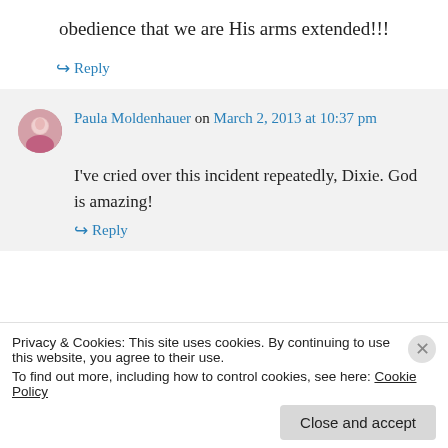obedience that we are His arms extended!!!
↪ Reply
Paula Moldenhauer on March 2, 2013 at 10:37 pm
I've cried over this incident repeatedly, Dixie. God is amazing!
↪ Reply
Privacy & Cookies: This site uses cookies. By continuing to use this website, you agree to their use.
To find out more, including how to control cookies, see here: Cookie Policy
Close and accept